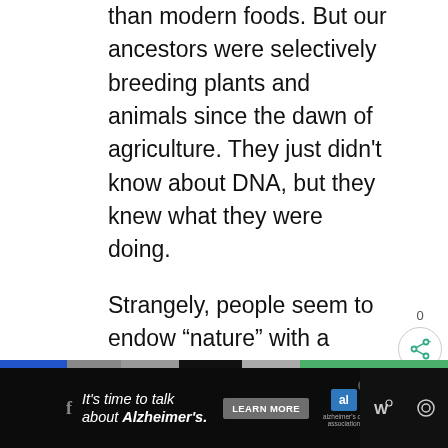than modern foods. But our ancestors were selectively breeding plants and animals since the dawn of agriculture. They just didn't know about DNA, but they knew what they were doing.
Strangely, people seem to endow “nature” with a special status that is ridiculous. As if nature was for the benefit of humans, rather than being just plain random events.
[Figure (other): Share widget showing count 0 and share button icon (circle with share symbol)]
[Figure (infographic): Advertisement banner: It's time to talk about Alzheimer's. LEARN MORE button. Alzheimer's Association logo. Color strip bar and social media icons on dark background.]